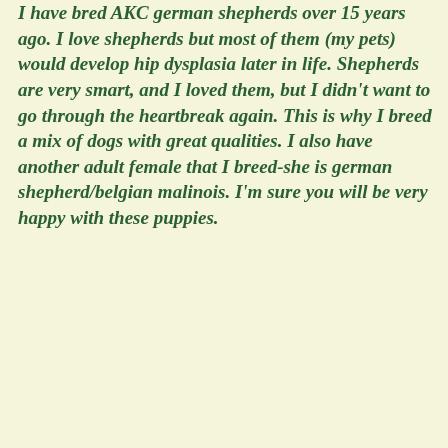I have bred AKC german shepherds over 15 years ago. I love shepherds but most of them (my pets) would develop hip dysplasia later in life. Shepherds are very smart, and I loved them, but I didn't want to go through the heartbreak again. This is why I breed a mix of dogs with great qualities. I also have another adult female that I breed-she is german shepherd/belgian malinois. I'm sure you will be very happy with these puppies.